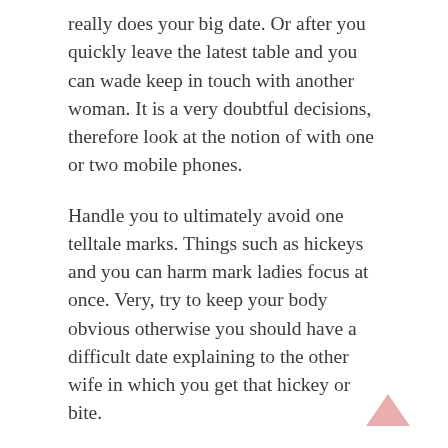really does your big date. Or after you quickly leave the latest table and you can wade keep in touch with another woman. It is a very doubtful decisions, therefore look at the notion of with one or two mobile phones.
Handle you to ultimately avoid one telltale marks. Things such as hickeys and you can harm mark ladies focus at once. Very, try to keep your body obvious otherwise you should have a difficult date explaining to the other wife in which you get that hickey or bite.
Believe tips escape remembering a vacation. There are very important dates and you will vacations you to definitely intimate people try supposed to enjoy together. On your condition, you simply can't celebrate a particular occasion having one another girls. That is why you will need to features a plausible justification are aside on that date. It could be an urgent trip to your mother and father otherwise permitting your cousin. Another suggestion to leave a date having one of the girlfriends will be to quarrel which have you to in advance of one to